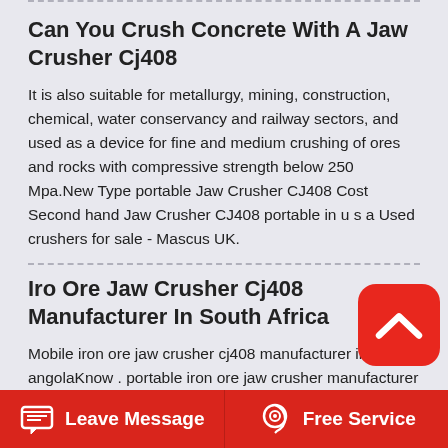Can You Crush Concrete With A Jaw Crusher Cj408
It is also suitable for metallurgy, mining, construction, chemical, water conservancy and railway sectors, and used as a device for fine and medium crushing of ores and rocks with compressive strength below 250 Mpa.New Type portable Jaw Crusher CJ408 Cost Second hand Jaw Crusher CJ408 portable in u s a Used crushers for sale - Mascus UK.
Iro Ore Jaw Crusher Cj408 Manufacturer In South Africa
Mobile iron ore jaw crusher cj408 manufacturer in angolaKnow . portable iron ore jaw crusher manufacturer angola know iro ore jaw crusher supplier in angola 2016 3 feet crushers south africa mobile cone crushers for sale gold limestone grinding mobile dolomite cone crusher and support online used limestone.
Leave Message   Free Service